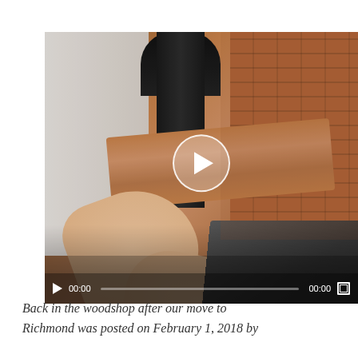[Figure (screenshot): A video screenshot showing hands feeding a wooden plank into a band saw machine, with a brick wall in the background. The video player shows controls: play button, 00:00 timestamp, progress bar, 00:00 end time, and fullscreen button. A large circular play button overlay is centered on the video.]
Back in the woodshop after our move to Richmond was posted on February 1, 2018 by